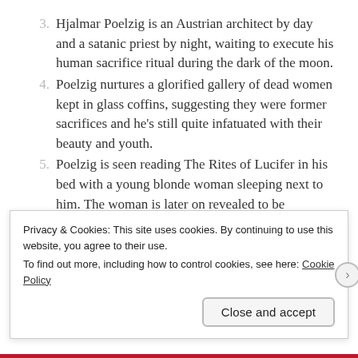3. Hjalmar Poelzig is an Austrian architect by day and a satanic priest by night, waiting to execute his human sacrifice ritual during the dark of the moon.
4. Poelzig nurtures a glorified gallery of dead women kept in glass coffins, suggesting they were former sacrifices and he's still quite infatuated with their beauty and youth.
5. Poelzig is seen reading The Rites of Lucifer in his bed with a young blonde woman sleeping next to him. The woman is later on revealed to be Werdegast's daughter, whom was lost for decades when she was a child. Hints of Pedophilia suggest that Poelzig must
Privacy & Cookies: This site uses cookies. By continuing to use this website, you agree to their use.
To find out more, including how to control cookies, see here: Cookie Policy
Close and accept